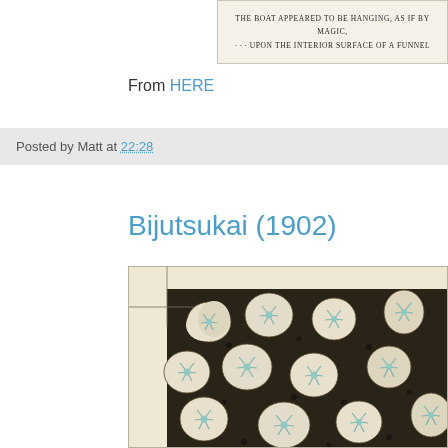[Figure (illustration): Cream-colored page excerpt showing text: 'THE BOAT APPEARED TO BE HANGING, AS IF BY MAGIC, ... UPON THE INTERIOR SURFACE OF A FUNNEL' in small serif capitals]
From HERE
Posted by Matt at 22:28
Bijutsukai (1902)
[Figure (illustration): Japanese woodblock-style design from Bijutsukai (1902) showing white plum blossoms with teal/blue stamens densely arranged on a dark brown/black background, with beige border and registration mark lines visible]